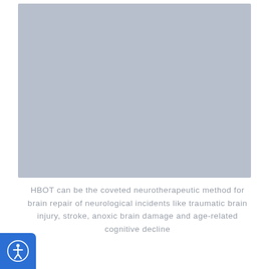[Figure (photo): Large light blue-grey placeholder image area, likely representing a medical or HBOT-related photograph]
HBOT can be the coveted neurotherapeutic method for brain repair of neurological incidents like traumatic brain injury, stroke, anoxic brain damage and age-related cognitive decline